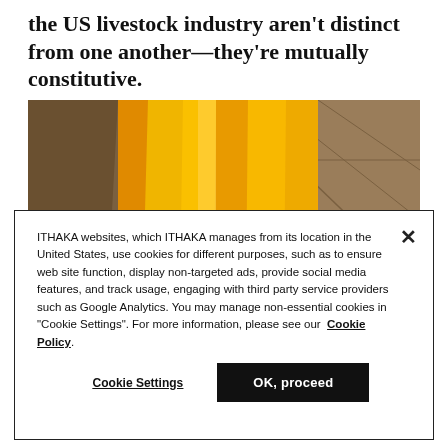the US livestock industry aren't distinct from one another—they're mutually constitutive.
[Figure (photo): Close-up photo of bright yellow/orange fabric or garment folds against a stone/pavement background in sunlight.]
ITHAKA websites, which ITHAKA manages from its location in the United States, use cookies for different purposes, such as to ensure web site function, display non-targeted ads, provide social media features, and track usage, engaging with third party service providers such as Google Analytics. You may manage non-essential cookies in "Cookie Settings". For more information, please see our Cookie Policy.